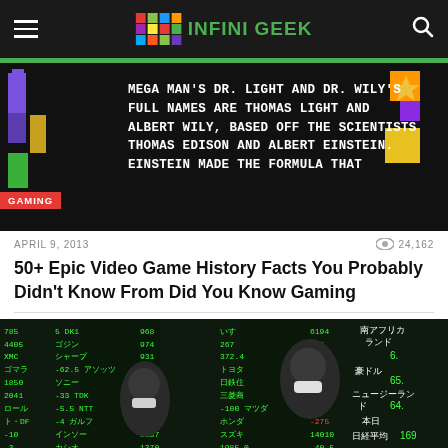INFINIGEEK
[Figure (screenshot): Mega Man video game screenshot with text overlay about Dr. Light and Dr. Wily's full names, with pixel art characters]
GAMING
APRIL 9, 2013 | 24,162 views
50+ Epic Video Game History Facts You Probably Didn't Know From Did You Know Gaming
[Figure (photo): Photo of people wearing face masks standing in front of a Japanese stock market display board with green numbers]